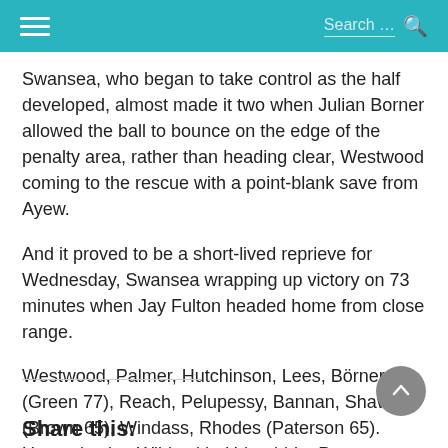Search ...
Swansea, who began to take control as the half developed, almost made it two when Julian Borner allowed the ball to bounce on the edge of the penalty area, rather than heading clear, Westwood coming to the rescue with a point-blank save from Ayew.
And it proved to be a short-lived reprieve for Wednesday, Swansea wrapping up victory on 73 minutes when Jay Fulton headed home from close range.
Westwood, Palmer, Hutchinson, Lees, Börner (Green 77), Reach, Pelupessy, Bannan, Shaw (Brown 65), Windass, Rhodes (Paterson 65). Unused subs. Wildsmith, Urhoghide, Penney, Hunt, Harris,  Kachunga.
Share this: